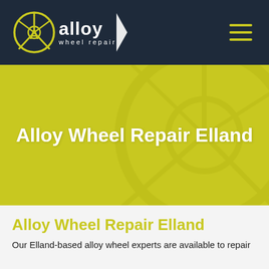[Figure (logo): Alloy Wheel Repair logo with circular A emblem in yellow and white text on dark navy navigation bar, with hamburger menu icon on the right]
Alloy Wheel Repair Elland
Alloy Wheel Repair Elland
Our Elland-based alloy wheel experts are available to repair